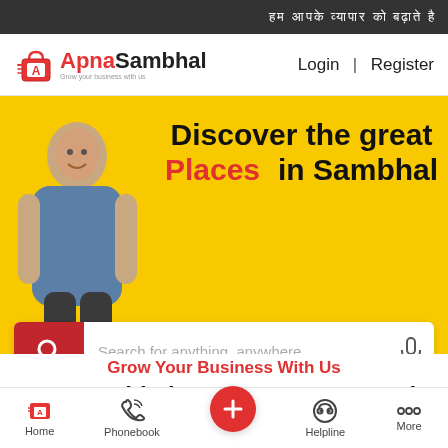हम आपके व्यापार को बढ़ाते है
[Figure (logo): Apna Sambhal logo with shopping bag icon in red]
Login | Register
[Figure (screenshot): Hero banner with yellow background, person image on left, text 'Discover the great Places in Sambhal' and a search bar with placeholder 'Search for anything, anywhere']
Grow Your Business With Us
Apna Sambhal Connect Buyers to the
[Figure (infographic): Bottom navigation bar with Home, Phonebook, Add (red circle), Helpline, More icons]